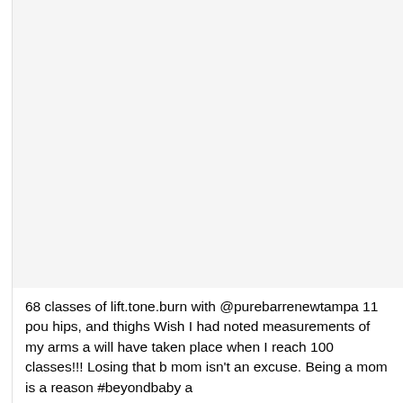[Figure (photo): Large light gray rectangular area occupying the upper portion of the page, likely a photo placeholder or image area.]
68 classes of lift.tone.burn with @purebarrenewtampa 11 pou hips, and thighs Wish I had noted measurements of my arms a will have taken place when I reach 100 classes!!! Losing that b mom isn't an excuse. Being a mom is a reason #beyondbaby a